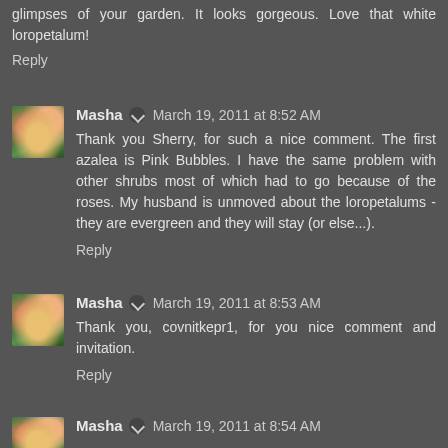glimpses of your garden. It looks gorgeous. Love that white loropetalum!
Reply
Masha · March 19, 2011 at 8:52 AM
Thank you Sherry, for such a nice comment. The first azalea is Pink Bubbles. I have the same problem with other shrubs most of which had to go because of the roses. My husband is unmoved about the loropetalums - they are evergreen and they will stay (or else...).
Reply
Masha · March 19, 2011 at 8:53 AM
Thank you, covnitkepr1, for you nice comment and invitation.
Reply
Masha · March 19, 2011 at 8:54 AM